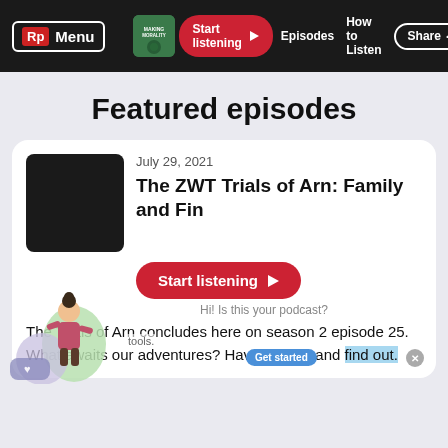Rp Menu | Start listening | Episodes | How to Listen | Share
Featured episodes
July 29, 2021
The ZWT Trials of Arn: Family and Fin
Start listening
Hi! Is this your podcast?
The Trials of Arn concludes here on season 2 episode 25.  What awaits our adventures? Have a listen and find out.